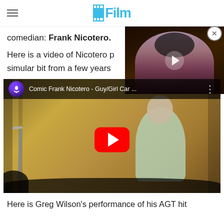/Film
comedian: Frank Nicotero.
Here is a video of Nicotero performing a simular bit from a few years
[Figure (screenshot): Overlay video thumbnail showing a woman in a Catwoman-style mask with a play button]
[Figure (screenshot): YouTube embedded video: Comic Frank Nicotero - Guy/Girl Car ... showing a comedian on stage with a microphone stand and YouTube play button]
Here is Greg Wilson's performance of his AGT hit